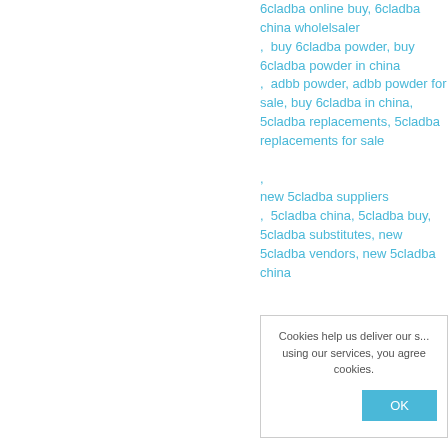6cladba online buy, 6cladba china wholelsaler ,  buy 6cladba powder, buy 6cladba powder in china ,  adbb powder, adbb powder for sale, buy 6cladba in china, 5cladba replacements, 5cladba replacements for sale , new 5cladba suppliers ,  5cladba china, 5cladba buy, 5cladba substitutes, new 5cladba vendors, new 5cladba china
Cookies help us deliver our s... using our services, you agree... cookies.